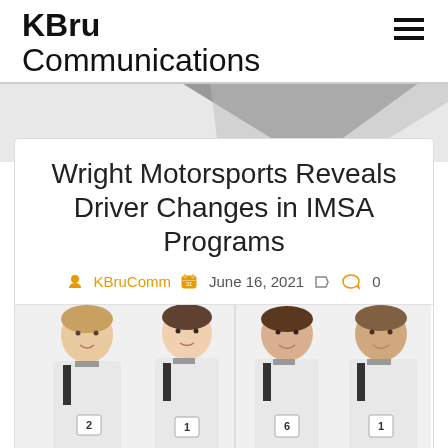KBru Communications
Wright Motorsports Reveals Driver Changes in IMSA Programs
KBruComm  June 16, 2021  0
[Figure (photo): Four racing drivers in white race suits, two pairs side by side, photographed from mid-torso up against a white background.]